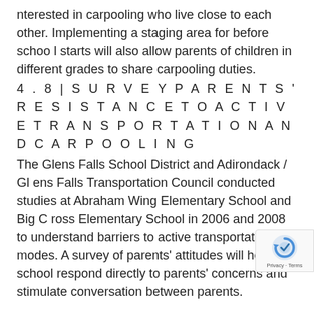nterested in carpooling who live close to each other. Implementing a staging area for before school starts will also allow parents of children in different grades to share carpooling duties.
4 . 8 | S U R V E Y P A R E N T S ' R E S I S T A N C E T O A C T I V E T R A N S P O R T A T I O N A N D C A R P O O L I N G
The Glens Falls School District and Adirondack / Glens Falls Transportation Council conducted studies at Abraham Wing Elementary School and Big Cross Elementary School in 2006 and 2008 to understand barriers to active transportation modes. A survey of parents' attitudes will help the school respond directly to parents' concerns and stimulate conversation between parents.
Final Report Adirondack / Glens Falls Transportation Council
Jackson Heights Elementary School Transportation